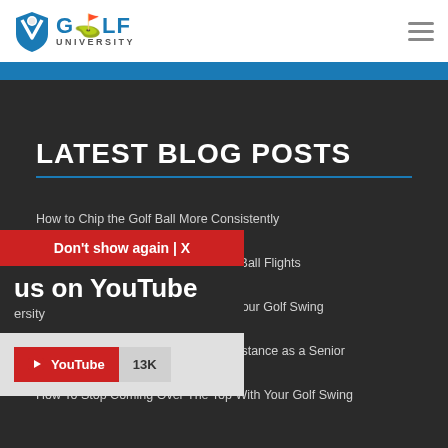Golf University
LATEST BLOG POSTS
How to Chip the Golf Ball More Consistently
How to Fix Your Chipping & Pitching Ball Flights
How To Stop The Weak Fade From Your Golf Swing
How To Increase Your Golf Driving Distance as a Senior
How To Stop Coming Over The Top With Your Golf Swing
[Figure (screenshot): Popup overlay with red banner saying 'Don't show again | X', dark section with text 'us on YouTube' and 'ersity', light gray section with YouTube subscribe button showing 13K subscribers]